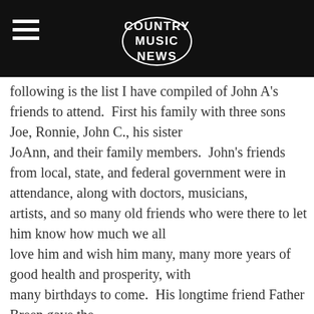COUNTRY MUSIC NEWS
following is the list I have compiled of John A's friends to attend.  First his family with three sons Joe, Ronnie, John C., his sister
JoAnn, and their family members.  John's friends from local, state, and federal government were in attendance, along with doctors, musicians,
artists, and so many old friends who were there to let him know how much we all
love him and wish him many, many more years of good health and prosperity, with
many birthdays to come.  His longtime friend Father Breen gave the
invocation and spoke eloquently about his friend John A.  One of John's closest friends Major League Baseball Umpire Joe West was in
attendance and really gave John A the roast of all roasts.  I am not